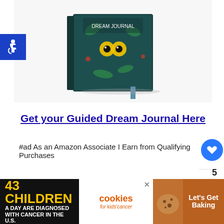[Figure (illustration): Illustrated guided dream journal book with decorative floral/fauna cover art in teal and dark green tones]
Get your Guided Dream Journal Here
#ad As an Amazon Associate I Earn from Qualifying Purchases
[Figure (screenshot): Accessibility icon (wheelchair symbol) in blue square]
[Figure (screenshot): Heart/save button in blue circle]
5
[Figure (screenshot): Share button icon]
WHAT'S NEXT → Glass Symbolism (...
[Figure (photo): Thumbnail of glass symbolism article showing dark green glass image]
[Figure (infographic): Bottom ad banner: 43 Children A Day Are Diagnosed With Cancer in the U.S. — Cookies for kids' cancer — Let's Get Baking]